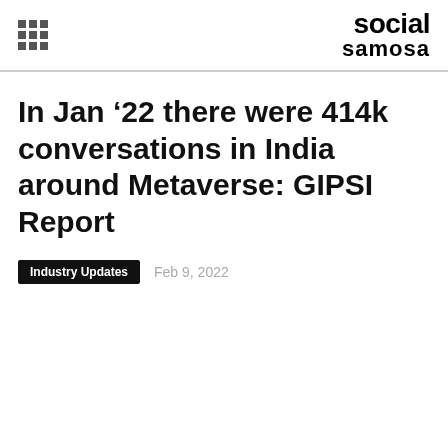social samosa
In Jan ’22 there were 414k conversations in India around Metaverse: GIPSI Report
Industry Updates
Feb 9, 2022